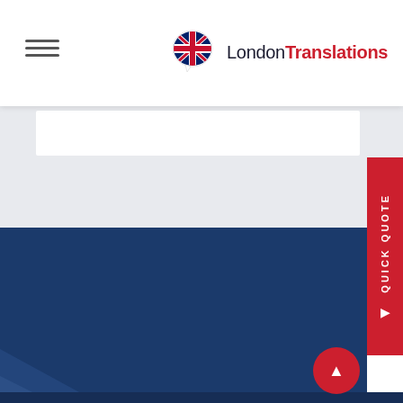[Figure (logo): LondonTranslations logo with UK flag speech bubble icon. Text reads 'London' in dark navy and 'Translations' in red.]
[Figure (screenshot): Website screenshot showing a hamburger menu icon on the left, LondonTranslations logo in the center-right, a grey section with a white search/filter bar, a dark navy blue banner with 'Choose your Industry' text in white, a red QUICK QUOTE vertical tab on the right, and a red circular scroll-up button.]
Choose your Industry